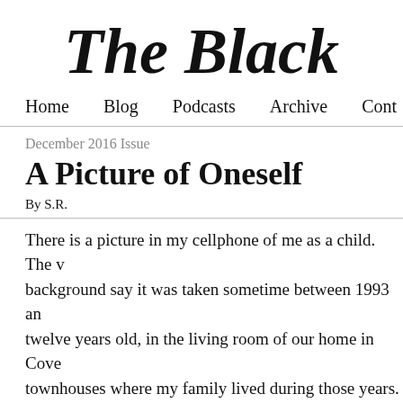The Black
Home   Blog   Podcasts   Archive   Cont
December 2016 Issue
A Picture of Oneself
By S.R.
There is a picture in my cellphone of me as a child. The v background say it was taken sometime between 1993 and twelve years old, in the living room of our home in Cove townhouses where my family lived during those years. In Washington Redskins sweatpants, that familiar burgund